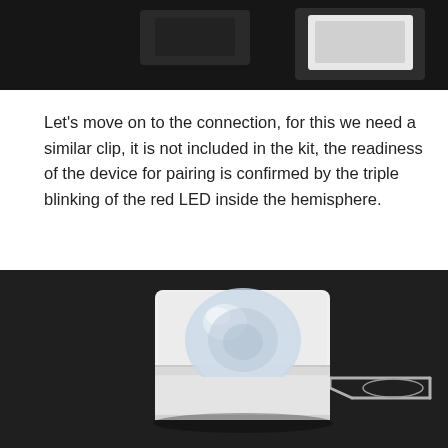[Figure (photo): Top portion of a photo on dark background showing partial device/sensor image]
Let's move on to the connection, for this we need a similar clip, it is not included in the kit, the readiness of the device for pairing is confirmed by the triple blinking of the red LED inside the hemisphere.
[Figure (photo): A white square IoT motion sensor device with a clear hemisphere dome on top and a SIM card ejector/clip tool inserted into its side, photographed on a dark background]